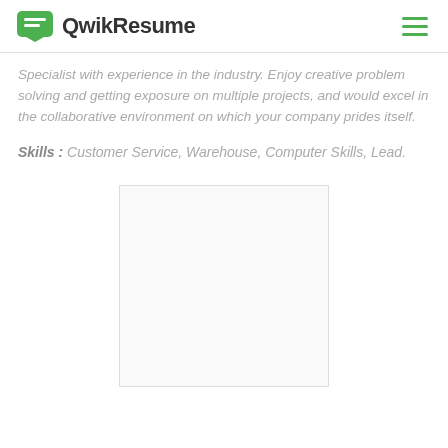QwikResume
Specialist with experience in the industry. Enjoy creative problem solving and getting exposure on multiple projects, and would excel in the collaborative environment on which your company prides itself.
Skills : Customer Service, Warehouse, Computer Skills, Lead.
[Figure (other): Empty resume preview box with light gray border]